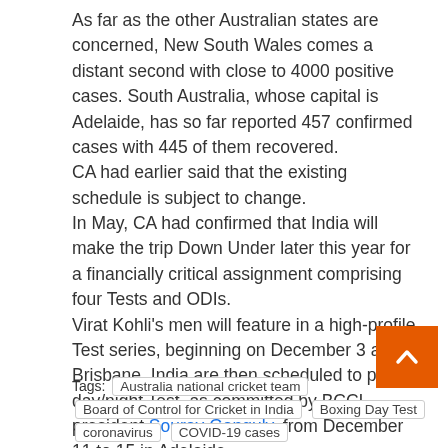As far as the other Australian states are concerned, New South Wales comes a distant second with close to 4000 positive cases. South Australia, whose capital is Adelaide, has so far reported 457 confirmed cases with 445 of them recovered.
CA had earlier said that the existing schedule is subject to change.
In May, CA had confirmed that India will make the trip Down Under later this year for a financially critical assignment comprising four Tests and ODIs.
Virat Kohli's men will feature in a high-profile Test series, beginning on December 3 at Brisbane. India are then scheduled to play a day/night Test, as committed by BCCI president Sourav Ganguly, from December 11 to 15 in Adelaide.
The third and fourth Tests will be held in Melbourne (December 26-30) and Sydney (January 3 to 7) respectively.
The series is crucial for the financial health of CA, which has had to stand down staff to handle cost of operations in the wake of the pandemic.
Source link
Tags: Australia national cricket team  Board of Control for Cricket in India  Boxing Day Test  coronavirus  COVID-19 cases